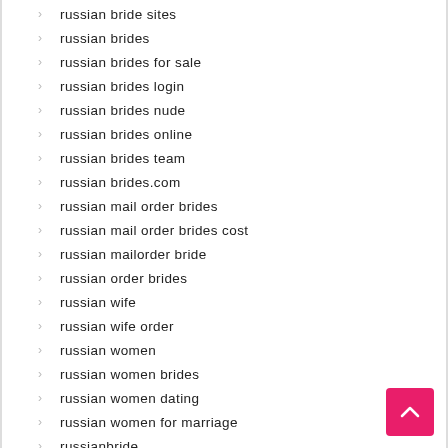russian bride sites
russian brides
russian brides for sale
russian brides login
russian brides nude
russian brides online
russian brides team
russian brides.com
russian mail order brides
russian mail order brides cost
russian mailorder bride
russian order brides
russian wife
russian wife order
russian women
russian women brides
russian women dating
russian women for marriage
russianbride